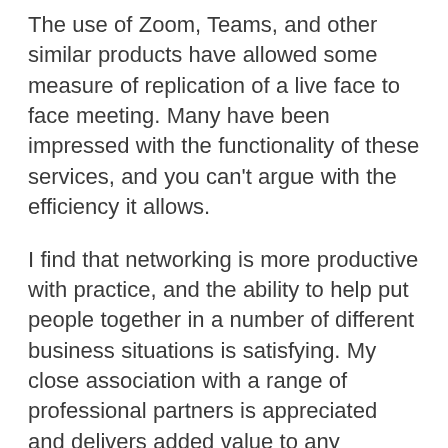The use of Zoom, Teams, and other similar products have allowed some measure of replication of a live face to face meeting. Many have been impressed with the functionality of these services, and you can't argue with the efficiency it allows.
I find that networking is more productive with practice, and the ability to help put people together in a number of different business situations is satisfying. My close association with a range of professional partners is appreciated and delivers added value to any business relationship.
If relevant I personally make an introduction and leave the two parties to take the